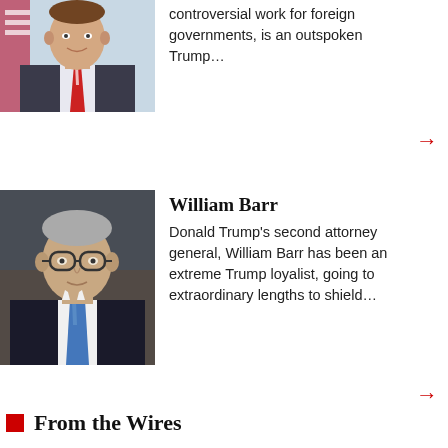[Figure (photo): Headshot of a man in a suit and tie with an American flag in the background]
controversial work for foreign governments, is an outspoken Trump…
[Figure (photo): William Barr sitting at a hearing, wearing glasses and a blue tie]
William Barr
Donald Trump's second attorney general, William Barr has been an extreme Trump loyalist, going to extraordinary lengths to shield…
From the Wires